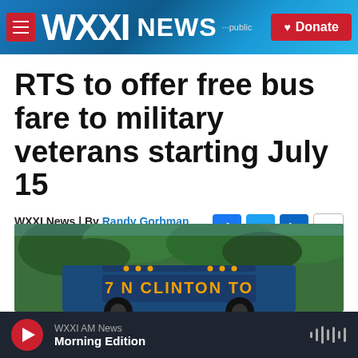WXXI News | Donate
RTS to offer free bus fare to military veterans starting July 15
WXXI News | By Randy Gorbman
Published June 29, 2020 at 4:36 PM EDT
[Figure (photo): An RTS bus with destination sign reading '7 N CLINTON TO' seen from behind, surrounded by trees.]
WXXI AM News – Morning Edition